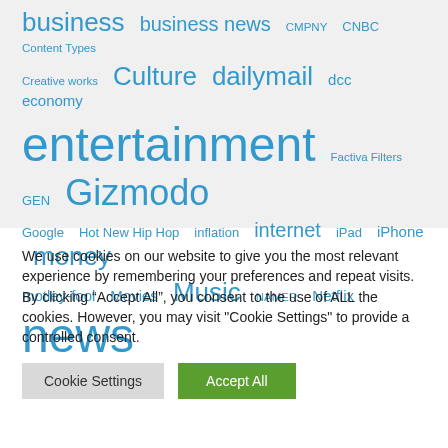[Figure (other): Tag cloud with words of varying sizes in blue. Row 1: business (xl), business news (lg), CMPNY (sm), CNBC (md), Content Types (sm). Row 2: Creative works (sm), Culture (xl), dailymail (xl), dcc (md), economy (md). Row 3: entertainment (xxxl), Factiva Filters (xs), GEN (sm), Gizmodo (xxl). Row 4: Google (sm), Hot New Hip Hop (sm), inflation (sm), internet (lg), iPad (sm), iPhone (md), money (xl). Row 5: motley-fool (md), Movies (md), Music (xl), NAMER (xs), Netflix (md), news (xxxl).]
We use cookies on our website to give you the most relevant experience by remembering your preferences and repeat visits. By clicking “Accept All”, you consent to the use of ALL the cookies. However, you may visit "Cookie Settings" to provide a controlled consent.